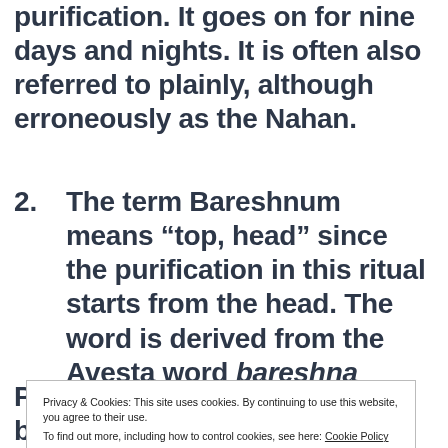purification. It goes on for nine days and nights. It is often also referred to plainly, although erroneously as the Nahan.
2. The term Bareshnum means “top, head” since the purification in this ritual starts from the head. The word is derived from the Avesta word bareshna which means “high.” Till about a
Privacy & Cookies: This site uses cookies. By continuing to use this website, you agree to their use. To find out more, including how to control cookies, see here: Cookie Policy
Presently it is undergone only by